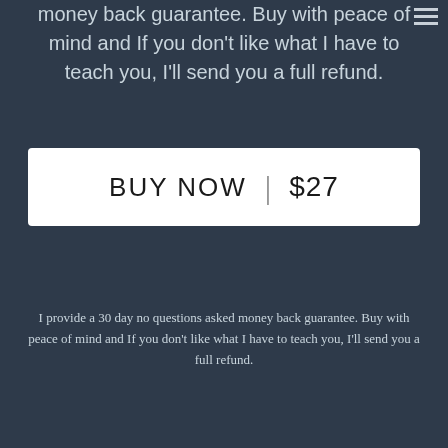money back guarantee. Buy with peace of mind and If you don't like what I have to teach you, I'll send you a full refund.
[Figure (other): BUY NOW | $27 button - white rectangular button with black text]
I provide a 30 day no questions asked money back guarantee. Buy with peace of mind and If you don't like what I have to teach you, I'll send you a full refund.